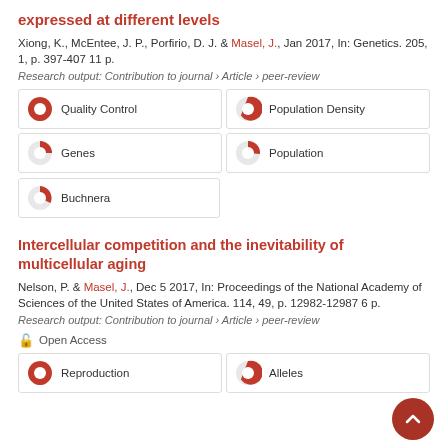expressed at different levels
Xiong, K., McEntee, J. P., Porfirio, D. J. & Masel, J., Jan 2017, In: Genetics. 205, 1, p. 397-407 11 p.
Research output: Contribution to journal › Article › peer-review
[Figure (infographic): Keyword badges with pie chart icons: Quality Control (100%), Population Density (~75%), Genes (~50%), Population (~50%), Buchnera (~40%)]
Intercellular competition and the inevitability of multicellular aging
Nelson, P. & Masel, J., Dec 5 2017, In: Proceedings of the National Academy of Sciences of the United States of America. 114, 49, p. 12982-12987 6 p.
Research output: Contribution to journal › Article › peer-review
Open Access
[Figure (infographic): Keyword badges with pie chart icons: Reproduction (100%), Alleles (~75%)]